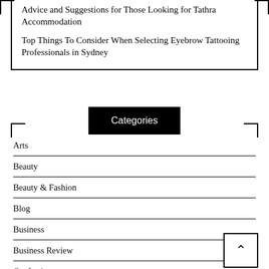Advice and Suggestions for Those Looking for Tathra Accommodation
Top Things To Consider When Selecting Eyebrow Tattooing Professionals in Sydney
Categories
Arts
Beauty
Beauty & Fashion
Blog
Business
Business Review
Confectionary